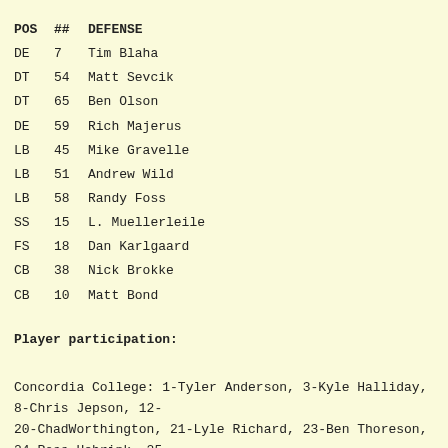| POS | ## | DEFENSE |
| --- | --- | --- |
| DE | 7 | Tim Blaha |
| DT | 54 | Matt Sevcik |
| DT | 65 | Ben Olson |
| DE | 59 | Rich Majerus |
| LB | 45 | Mike Gravelle |
| LB | 51 | Andrew Wild |
| LB | 58 | Randy Foss |
| SS | 15 | L. Muellerleile |
| FS | 18 | Dan Karlgaard |
| CB | 38 | Nick Brokke |
| CB | 10 | Matt Bond |
Player participation:
Concordia College: 1-Tyler Anderson, 3-Kyle Halliday, 8-Chris Jepson, 12-...
20-ChadWorthington, 21-Lyle Richard, 23-Ben Thoreson, 24-Ross Hebrink, 25...